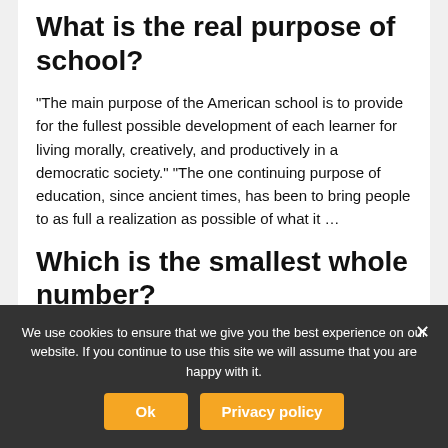What is the real purpose of school?
“The main purpose of the American school is to provide for the fullest possible development of each learner for living morally, creatively, and productively in a democratic society.” “The one continuing purpose of education, since ancient times, has been to bring people to as full a realization as possible of what it …
Which is the smallest whole number?
0
We use cookies to ensure that we give you the best experience on our website. If you continue to use this site we will assume that you are happy with it.